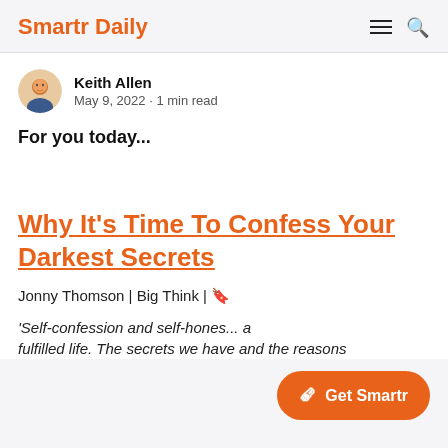Smartr Daily
Keith Allen
May 9, 2022 · 1 min read
For you today...
Why It's Time To Confess Your Darkest Secrets
Jonny Thomson | Big Think | 🔖
'Self-confession and self-honesty are key to a fulfilled life. The secrets we have and the reasons